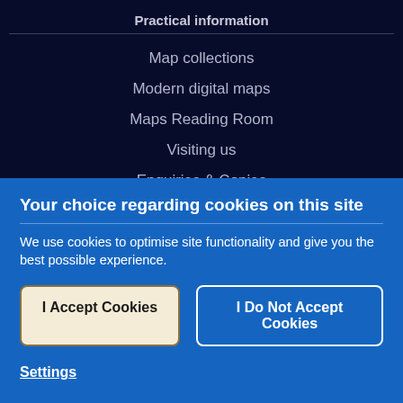Practical information
Map collections
Modern digital maps
Maps Reading Room
Visiting us
Enquiries & Copies
Your choice regarding cookies on this site
We use cookies to optimise site functionality and give you the best possible experience.
I Accept Cookies
I Do Not Accept Cookies
Settings